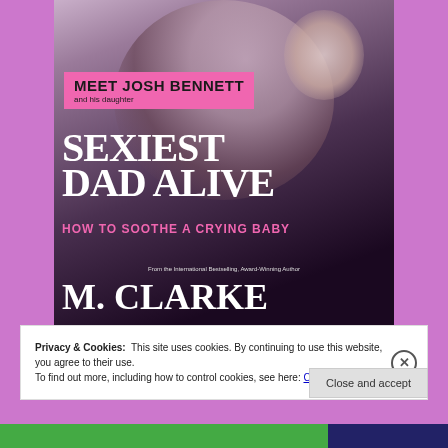[Figure (illustration): Book cover for 'Sexiest Dad Alive' by M. Clarke, featuring a tattooed man holding a baby. Pink banner reads 'MEET JOSH BENNETT and his daughter'. Title text in white serif font. Subtitle 'HOW TO SOOTHE A CRYING BABY' in pink. Author name M. CLARKE at bottom.]
Privacy & Cookies: This site uses cookies. By continuing to use this website, you agree to their use.
To find out more, including how to control cookies, see here: Cookie Policy
Close and accept